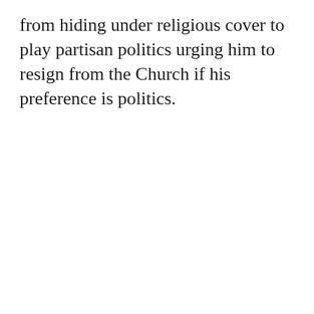from hiding under religious cover to play partisan politics urging him to resign from the Church if his preference is politics.